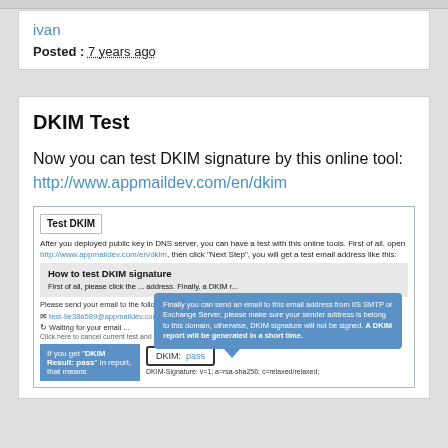ivan
Posted : 7 years ago
DKIM Test
Now you can test DKIM signature by this online tool:
http://www.appmaildev.com/en/dkim
[Figure (screenshot): Screenshot of the DKIM test tool at appmaildev.com showing the 'Test DKIM' page with instructions, a tooltip explaining the email sending process, an email address to send to (test-9e38a589@appmaildev.com), a waiting spinner, a DKIM: pass result box, and a partial DKIM-Signature header.]